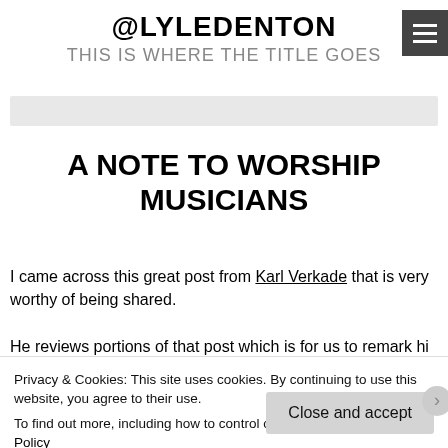@LYLEDENTON
THIS IS WHERE THE TITLE GOES
A NOTE TO WORSHIP MUSICIANS
I came across this great post from Karl Verkade that is very worthy of being shared.
Privacy & Cookies: This site uses cookies. By continuing to use this website, you agree to their use.
To find out more, including how to control cookies, see here: Cookie Policy
Close and accept